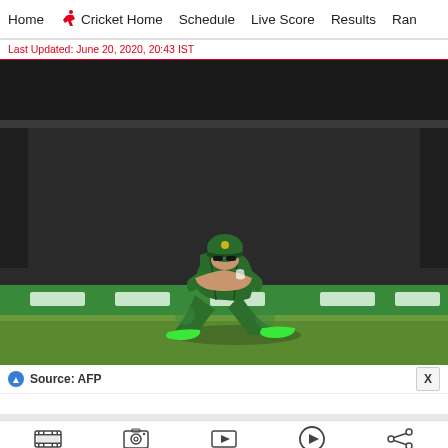Home  Cricket Home  Schedule  Live Score  Results  Ran
Last Updated: June 20, 2020, 20:43 IST
[Figure (photo): South Africa cricket player wearing green kit, crouching on the field with hands raised to his face, wearing sunglasses and green cap, with green shoes on a cricket ground]
Source: AFP
Movies  Photos  Live TV  Videos  Share